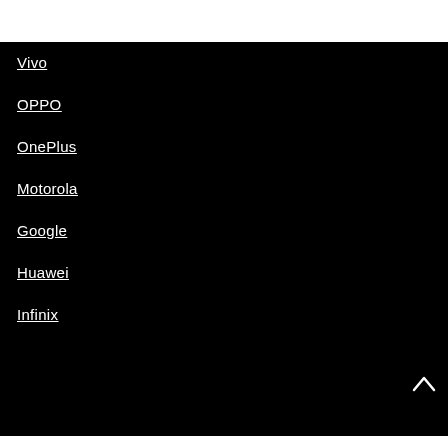Vivo
OPPO
OnePlus
Motorola
Google
Huawei
Infinix